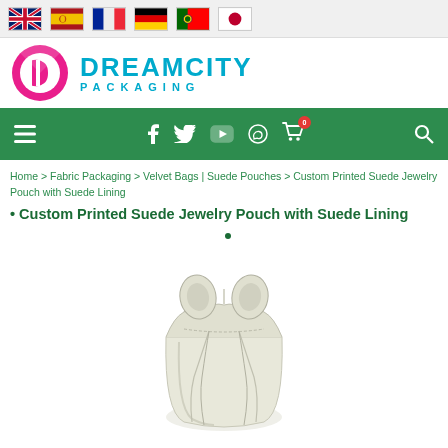[Figure (screenshot): Flag bar with UK, Spain, France, Germany, Portugal, Japan flag icons]
[Figure (logo): DreamCity Packaging logo with pink circular icon and teal DREAMCITY PACKAGING text]
[Figure (screenshot): Green navigation bar with hamburger menu, Facebook, Twitter, YouTube, WhatsApp, cart (0), and search icons]
Home > Fabric Packaging > Velvet Bags | Suede Pouches > Custom Printed Suede Jewelry Pouch with Suede Lining
• Custom Printed Suede Jewelry Pouch with Suede Lining
[Figure (photo): White/cream suede drawstring jewelry pouch with gathered top and two drawstrings, photographed on white background]